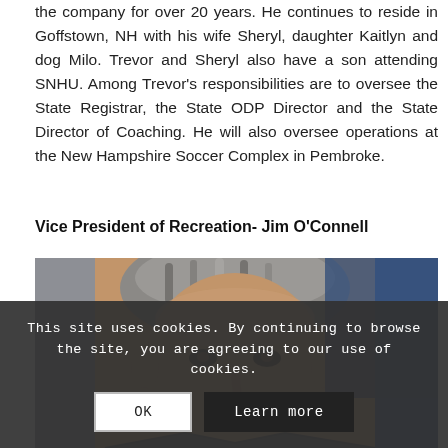the company for over 20 years. He continues to reside in Goffstown, NH with his wife Sheryl, daughter Kaitlyn and dog Milo. Trevor and Sheryl also have a son attending SNHU. Among Trevor's responsibilities are to oversee the State Registrar, the State ODP Director and the State Director of Coaching. He will also oversee operations at the New Hampshire Soccer Complex in Pembroke.
Vice President of Recreation- Jim O'Connell
[Figure (photo): Photo of Jim O'Connell, a middle-aged man with gray/salt-and-pepper hair, photographed from the head and shoulders, blue background visible.]
This site uses cookies. By continuing to browse the site, you are agreeing to our use of cookies.